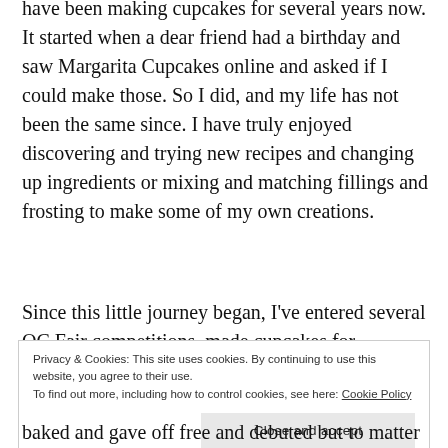making cupcakes for several years now. It started when a dear friend had a birthday and saw Margarita Cupcakes online and asked if I could make those. So I did, and my life has not been the same since. I have truly enjoyed discovering and trying new recipes and changing up ingredients or mixing and matching fillings and frosting to make some of my own creations.
Since this little journey began, I’ve entered several OC Fair competitions, made cupcakes for fundraising
Privacy & Cookies: This site uses cookies. By continuing to use this website, you agree to their use.
To find out more, including how to control cookies, see here: Cookie Policy
Close and accept
baked and gave off free and debuted but to matter